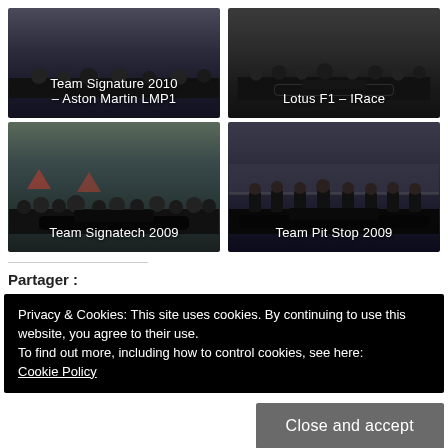[Figure (photo): Team Signature 2010 – Aston Martin LMP1 race team photo with 24 Heures du Mans branding]
[Figure (photo): Lotus F1 – IRace team photo]
[Figure (photo): Team Signatech 2009 – large group photo of racing team outdoors]
[Figure (photo): Team Pit Stop 2009 – group of team members in black uniforms at racetrack]
Partager :
Privacy & Cookies: This site uses cookies. By continuing to use this website, you agree to their use. To find out more, including how to control cookies, see here: Cookie Policy
Close and accept
Shop